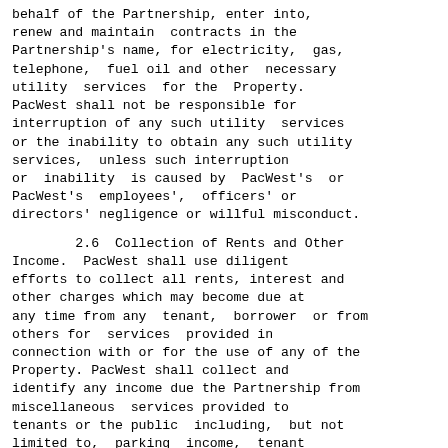behalf of the Partnership, enter into, renew and maintain  contracts in the Partnership's name, for electricity, gas, telephone,  fuel oil and other  necessary utility  services  for the  Property. PacWest shall not be responsible for interruption of any such utility  services or the inability to obtain any such utility services,  unless such interruption or  inability  is caused by  PacWest's  or PacWest's  employees',  officers' or directors' negligence or willful misconduct.
2.6  Collection of Rents and Other Income.  PacWest shall use diligent efforts to collect all rents, interest and other charges which may become due at any time from any  tenant,  borrower  or from others for  services  provided in connection with or for the use of any of the Property. PacWest shall collect and identify any income due the Partnership from miscellaneous  services provided to tenants or the public  including,  but not limited to,  parking  income,  tenant storage and coin operated  machines of all